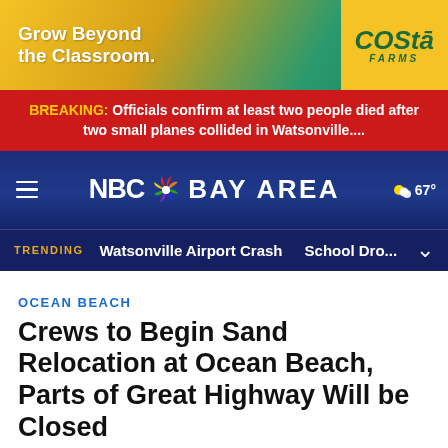[Figure (illustration): Advertisement banner: 'Grow Beyond the Classroom.' with Costa Farms logo and image of person holding plant]
BREAKING: Officials confirm at least two people died after two small planes collided in Watsonville....
NBC Bay Area — TRENDING: Watsonville Airport Crash | School Dro...  67°
OCEAN BEACH
Crews to Begin Sand Relocation at Ocean Beach, Parts of Great Highway Will be Closed
During the project, southbound traffic lanes on the Great Highway between Sloat Boulevard and Lincoln Way will